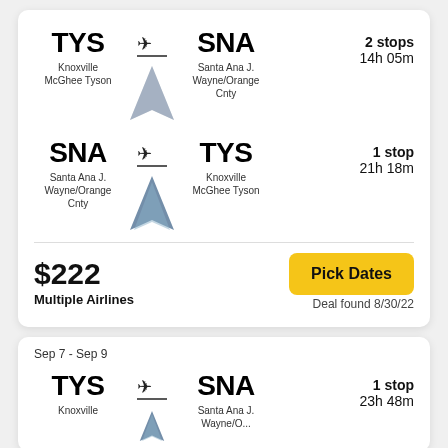TYS → SNA, Knoxville McGhee Tyson → Santa Ana J. Wayne/Orange Cnty, 2 stops, 14h 05m
SNA → TYS, Santa Ana J. Wayne/Orange Cnty → Knoxville McGhee Tyson, 1 stop, 21h 18m
$222, Multiple Airlines
Pick Dates
Deal found 8/30/22
Sep 7 - Sep 9
TYS → SNA, Knoxville → Santa Ana J. Wayne/O..., 1 stop, 23h 48m